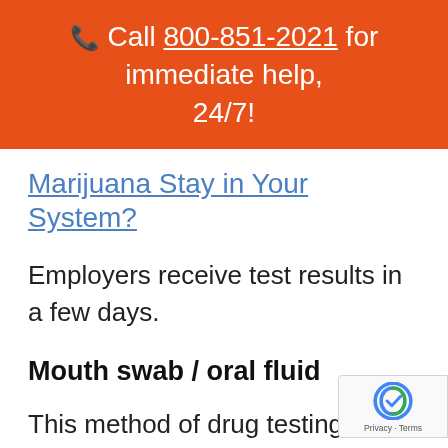📞 Call 800-851-2021 for immediate help, 24/7!
Marijuana Stay in Your System?
Employers receive test results in a few days.
Mouth swab / oral fluid
This method of drug testing is somewhat newer than other methods but is still every bit accurate as a